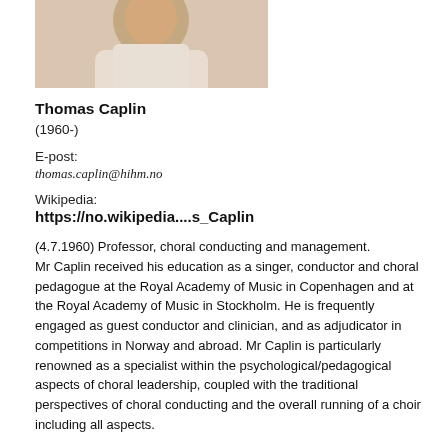[Figure (photo): Cropped photo of Thomas Caplin, showing torso area with light-colored clothing]
Thomas Caplin
(1960-)
E-post:
thomas.caplin@hihm.no
Wikipedia:
https://no.wikipedia....s_Caplin
(4.7.1960) Professor, choral conducting and management. Mr Caplin received his education as a singer, conductor and choral pedagogue at the Royal Academy of Music in Copenhagen and at the Royal Academy of Music in Stockholm. He is frequently engaged as guest conductor and clinician, and as adjudicator in competitions in Norway and abroad. Mr Caplin is particularly renowned as a specialist within the psychological/pedagogical aspects of choral leadership, coupled with the traditional perspectives of choral conducting and the overall running of a choir including all aspects.
This focus area is also fundamental in his book on choral leadership in Swedish and Norwegian, a book that will be globally published in